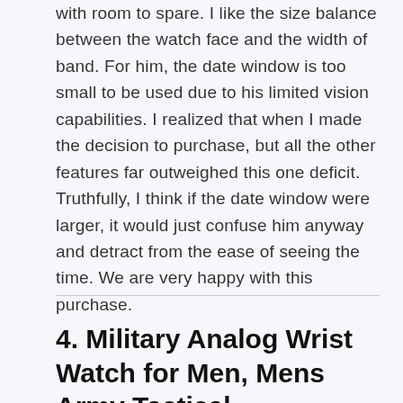with room to spare. I like the size balance between the watch face and the width of band. For him, the date window is too small to be used due to his limited vision capabilities. I realized that when I made the decision to purchase, but all the other features far outweighed this one deficit. Truthfully, I think if the date window were larger, it would just confuse him anyway and detract from the ease of seeing the time. We are very happy with this purchase.
4. Military Analog Wrist Watch for Men, Mens Army Tactical